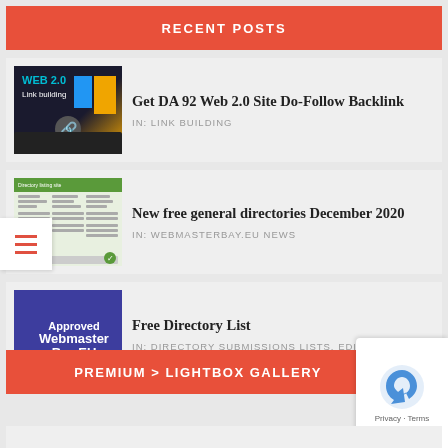RECENT POSTS
[Figure (screenshot): WEB 2.0 Link building thumbnail with laptop and chain link icon]
Get DA 92 Web 2.0 Site Do-Follow Backlink
IN:  LINK BUILDING
[Figure (screenshot): General directories listing screenshot with green header]
New free general directories December 2020
IN:  WEBMASTERBAY.EU NEWS
[Figure (logo): Approved WebmasterBay.EU badge with checkmark on purple/blue background]
Free Directory List
IN:  DIRECTORY SUBMISSIONS LISTS, EDITORIALS
PREMIUM > LIGHTBOX GALLERY